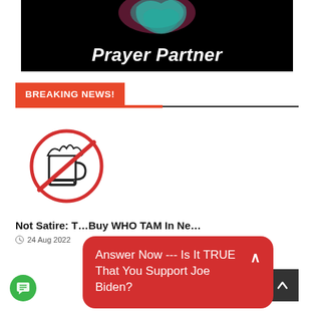[Figure (illustration): Prayer Partner banner with dark background, hand graphic at top, and 'Prayer Partner' text in white italic bold font]
BREAKING NEWS!
[Figure (illustration): No coffee allowed icon: a coffee mug with whipped cream inside a red circle with a diagonal slash]
Not Satire: [truncated] Buy WHO [truncated] TAM In Ne[truncated]
24 Aug 2022
Answer Now --- Is It TRUE That You Support Joe Biden?